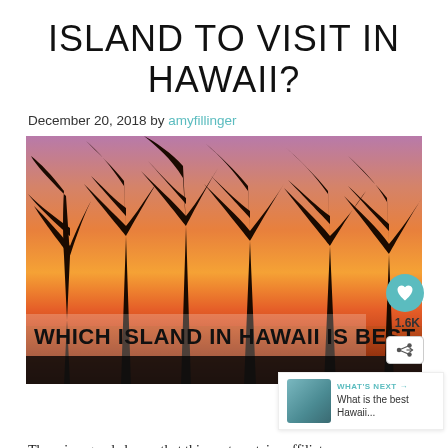ISLAND TO VISIT IN HAWAII?
December 20, 2018 by amyfillinger
[Figure (photo): Silhouette of palm trees against a vibrant orange and pink sunset sky in Hawaii, with overlay text reading 'WHICH ISLAND IN HAWAII IS BEST']
There is a good chance that this post contains affiliate